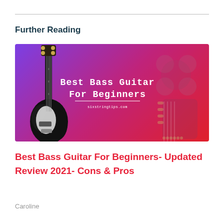Further Reading
[Figure (photo): Promotional image for 'Best Bass Guitar For Beginners' article. Purple-to-red gradient background with a black bass guitar on the left and decorative guitar headstock on the right. White monospace text reads 'Best Bass Guitar For Beginners' with 'sixstringtips.com' below.]
Best Bass Guitar For Beginners- Updated Review 2021- Cons & Pros
Caroline